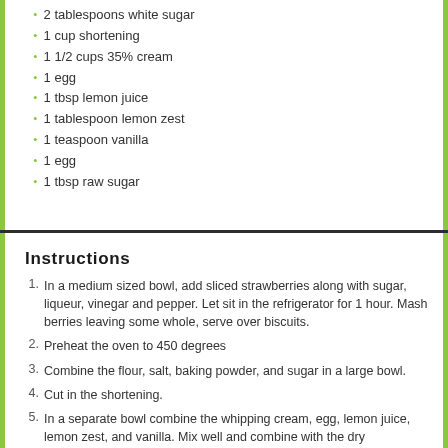2 tablespoons white sugar
1 cup shortening
1 1/2 cups 35% cream
1 egg
1 tbsp lemon juice
1 tablespoon lemon zest
1 teaspoon vanilla
1 egg
1 tbsp raw sugar
Instructions
In a medium sized bowl, add sliced strawberries along with sugar, liqueur, vinegar and pepper. Let sit in the refrigerator for 1 hour. Mash berries leaving some whole, serve over biscuits.
Preheat the oven to 450 degrees
Combine the flour, salt, baking powder, and sugar in a large bowl.
Cut in the shortening.
In a separate bowl combine the whipping cream, egg, lemon juice, lemon zest, and vanilla. Mix well and combine with the dry ingredients.
Turn out on a floured board, form into a disc, and use either your hands or